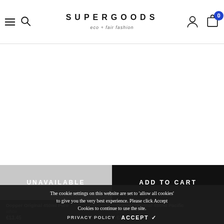SUPERGOODS eco + fair fashion
[Figure (screenshot): White empty product image area]
UNAVAILABLE
ADD TO CART
Dopper Original 450ml Pure White €13.45
Dopper Original 450ml Pacific Blue €13.45
The cookie settings on this website are set to 'allow all cookies' to give you the very best experience. Please click Accept Cookies to continue to use the site.
PRIVACY POLICY   ACCEPT ✓